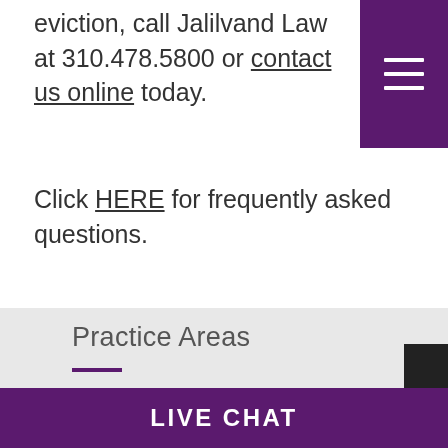eviction, call Jalilvand Law at 310.478.5800 or contact us online today.
Click HERE for frequently asked questions.
Practice Areas
Real Estate
Real Estate Transactions
Mortgage Servicer Misconduct
Breach of Warranty of Habitability
LIVE CHAT